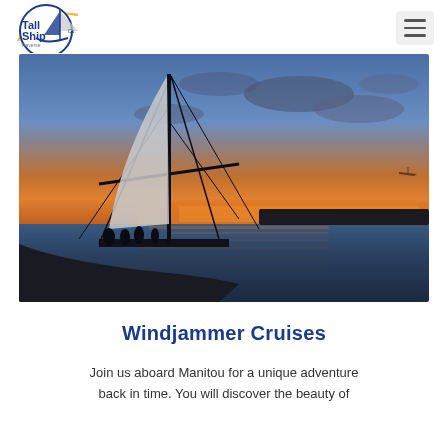Tall Ship Traverse City Co. — navigation header with logo and hamburger menu
[Figure (photo): Silhouette of a tall sailing ship (schooner Manitou) against a vivid sunset sky with orange and blue hues reflecting on calm water, with passengers visible on deck]
Windjammer Cruises
Join us aboard Manitou for a unique adventure back in time. You will discover the beauty of